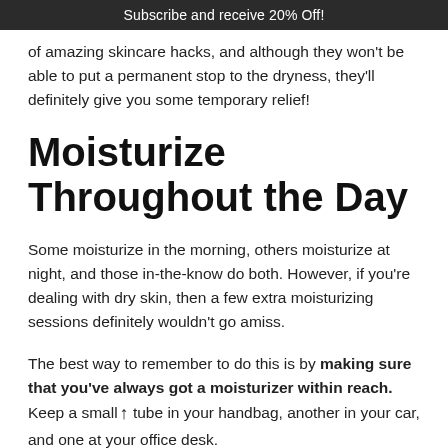Subscribe and receive 20% Off!
of amazing skincare hacks, and although they won't be able to put a permanent stop to the dryness, they'll definitely give you some temporary relief!
Moisturize Throughout the Day
Some moisturize in the morning, others moisturize at night, and those in-the-know do both. However, if you're dealing with dry skin, then a few extra moisturizing sessions definitely wouldn't go amiss.
The best way to remember to do this is by making sure that you've always got a moisturizer within reach. Keep a small tube in your handbag, another in your car, and one at your office desk.